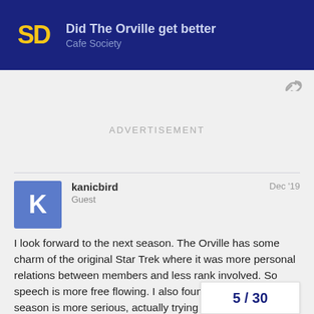Did The Orville get better | Cafe Society
ADVERTISEMENT
kanicbird
Guest
Dec '19
I look forward to the next season. The Orville has some charm of the original Star Trek where it was more personal relations between members and less rank involved. So speech is more free flowing. I also found that the second season is more serious, actually trying to take the place of real next Star Trek in the heart of the fans while still being able to claim a parody of ST when ST Discovery was bombing hard, so perhaps some less interpersonal stuff as they need time f… no one has gone before' stuff.
5 / 30